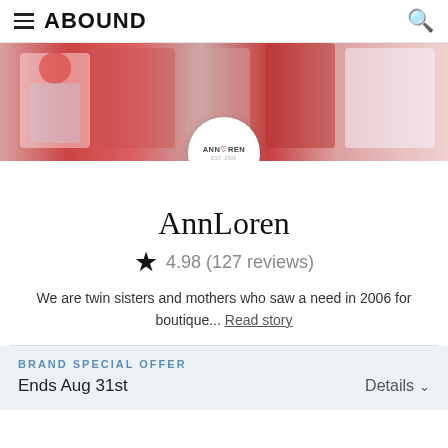ABOUND
[Figure (photo): Banner photo of children in Christmas/holiday clothing (Santa outfits, reindeer apparel, red and white stripes, floral dresses) with AnnLoren brand logo circle overlay]
AnnLoren
4.98 (127 reviews)
We are twin sisters and mothers who saw a need in 2006 for boutique... Read story
BRAND SPECIAL OFFER
Ends Aug 31st
Details